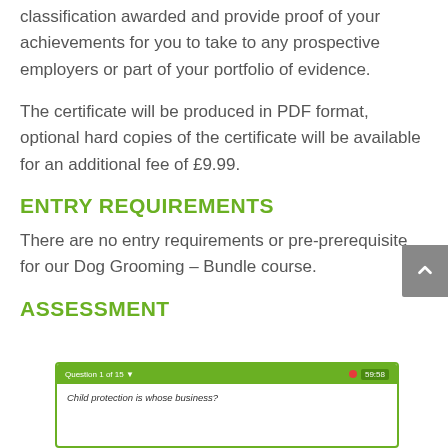classification awarded and provide proof of your achievements for you to take to any prospective employers or part of your portfolio of evidence.
The certificate will be produced in PDF format, optional hard copies of the certificate will be available for an additional fee of £9.99.
ENTRY REQUIREMENTS
There are no entry requirements or pre-prerequisite for our Dog Grooming – Bundle course.
ASSESSMENT
[Figure (screenshot): Screenshot of an online quiz interface showing 'Question 1 of 15' with a timer showing 59:58 and the question 'Child protection is whose business?']